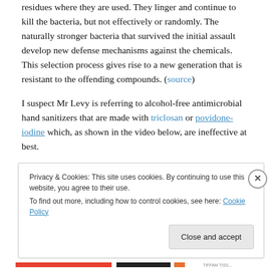residues where they are used. They linger and continue to kill the bacteria, but not effectively or randomly. The naturally stronger bacteria that survived the initial assault develop new defense mechanisms against the chemicals. This selection process gives rise to a new generation that is resistant to the offending compounds. (source)
I suspect Mr Levy is referring to alcohol-free antimicrobial hand sanitizers that are made with triclosan or povidone-iodine which, as shown in the video below, are ineffective at best.
Privacy & Cookies: This site uses cookies. By continuing to use this website, you agree to their use.
To find out more, including how to control cookies, see here: Cookie Policy
[Close and accept]